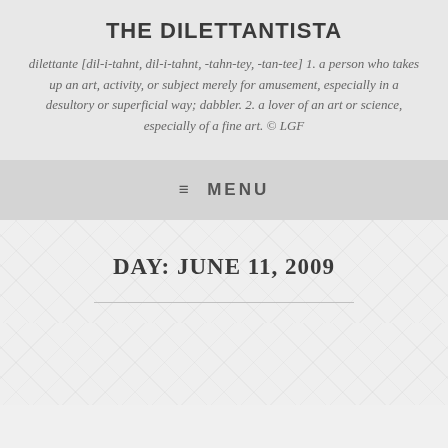THE DILETTANTISTA
dilettante [dil-i-tahnt, dil-i-tahnt, -tahn-tey, -tan-tee] 1. a person who takes up an art, activity, or subject merely for amusement, especially in a desultory or superficial way; dabbler. 2. a lover of an art or science, especially of a fine art. © LGF
≡ MENU
DAY: JUNE 11, 2009